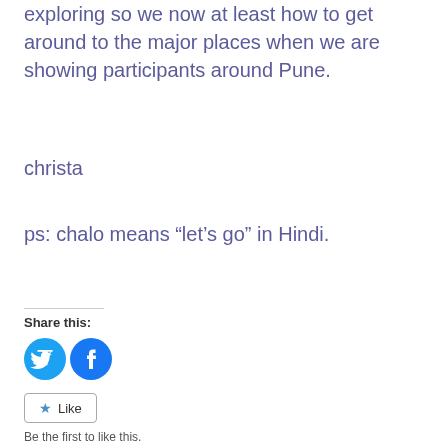exploring so we now at least how to get around to the major places when we are showing participants around Pune.
christa
ps: chalo means “let’s go” in Hindi.
Share this:
[Figure (illustration): Twitter and Facebook circular share icon buttons in teal/blue colors]
[Figure (illustration): Like button widget with star icon and text 'Like']
Be the first to like this.